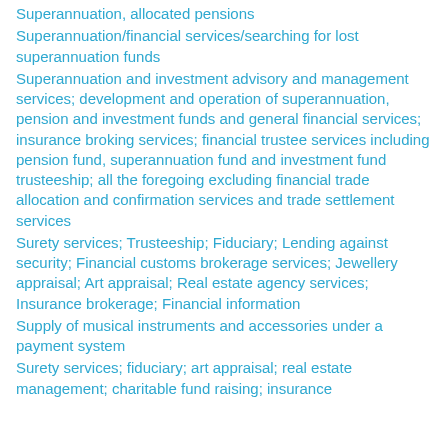Superannuation, allocated pensions
Superannuation/financial services/searching for lost superannuation funds
Superannuation and investment advisory and management services; development and operation of superannuation, pension and investment funds and general financial services; insurance broking services; financial trustee services including pension fund, superannuation fund and investment fund trusteeship; all the foregoing excluding financial trade allocation and confirmation services and trade settlement services
Surety services; Trusteeship; Fiduciary; Lending against security; Financial customs brokerage services; Jewellery appraisal; Art appraisal; Real estate agency services; Insurance brokerage; Financial information
Supply of musical instruments and accessories under a payment system
Surety services; fiduciary; art appraisal; real estate management; charitable fund raising; insurance